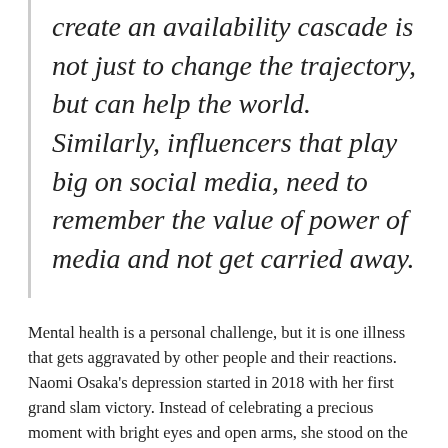create an availability cascade is not just to change the trajectory, but can help the world. Similarly, influencers that play big on social media, need to remember the value of power of media and not get carried away.
Mental health is a personal challenge, but it is one illness that gets aggravated by other people and their reactions. Naomi Osaka's depression started in 2018 with her first grand slam victory. Instead of celebrating a precious moment with bright eyes and open arms, she stood on the stage with drooped shoulders and the tear laden face hidden behind her visor. She had been booed more than she could take during her first